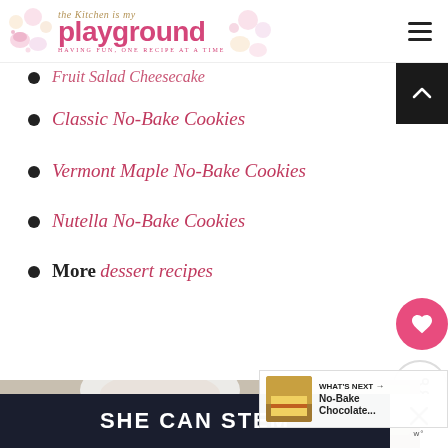The Kitchen is my Playground
Fruit Salad Cheesecake
Classic No-Bake Cookies
Vermont Maple No-Bake Cookies
Nutella No-Bake Cookies
More dessert recipes
[Figure (photo): Food photo showing baking ingredients and an Oreo cookie]
WHAT'S NEXT → No-Bake Chocolate...
SHE CAN STEM